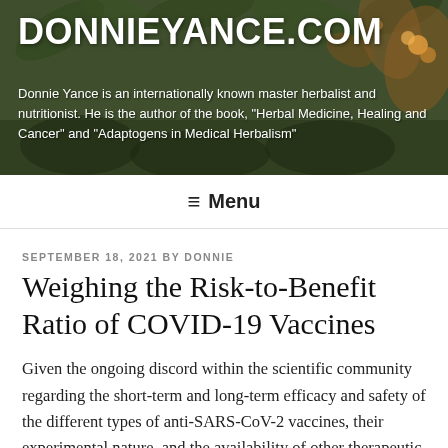[Figure (photo): Website header banner with botanical/herbal background image showing plants, flowers, and herbs in muted earth tones with overlaid text.]
DONNIEYANCE.COM
Donnie Yance is an internationally known master herbalist and nutritionist. He is the author of the book, "Herbal Medicine, Healing and Cancer" and "Adaptogens in Medical Herbalism"
≡ Menu
SEPTEMBER 18, 2021 BY DONNIE
Weighing the Risk-to-Benefit Ratio of COVID-19 Vaccines
Given the ongoing discord within the scientific community regarding the short-term and long-term efficacy and safety of the different types of anti-SARS-CoV-2 vaccines, their experimental nature, and the availability of other therapeutic approaches,[1] such